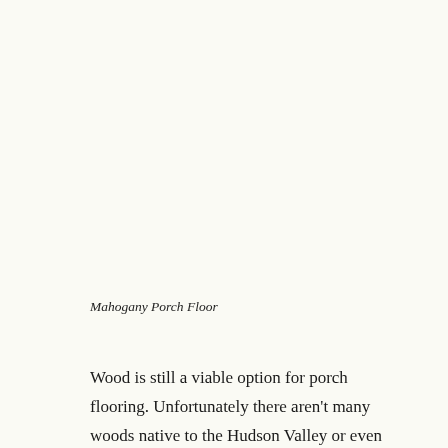Mahogany Porch Floor
Wood is still a viable option for porch flooring. Unfortunately there aren't many woods native to the Hudson Valley or even the United States that I would recommend using. Some of the native